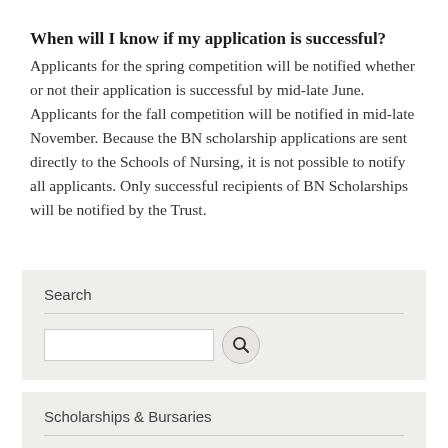When will I know if my application is successful?
Applicants for the spring competition will be notified whether or not their application is successful by mid-late June. Applicants for the fall competition will be notified in mid-late November. Because the BN scholarship applications are sent directly to the Schools of Nursing, it is not possible to notify all applicants. Only successful recipients of BN Scholarships will be notified by the Trust.
Search
Scholarships & Bursaries